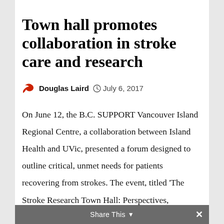Town hall promotes collaboration in stroke care and research
Douglas Laird   July 6, 2017
On June 12, the B.C. SUPPORT Vancouver Island Regional Centre, a collaboration between Island Health and UVic, presented a forum designed to outline critical, unmet needs for patients recovering from strokes. The event, titled ‘The Stroke Research Town Hall: Perspectives, Priorities, and Possibilities’,